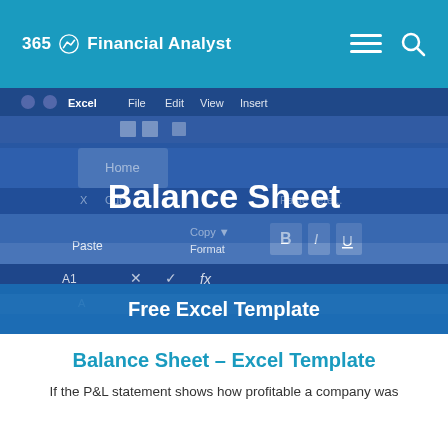365 Financial Analyst
[Figure (screenshot): Blurred screenshot of Microsoft Excel ribbon interface with 'Balance Sheet' title text overlaid in white bold font and 'Free Excel Template' subtitle in a blue banner at the bottom of the image.]
Balance Sheet – Excel Template
If the P&L statement shows how profitable a company was